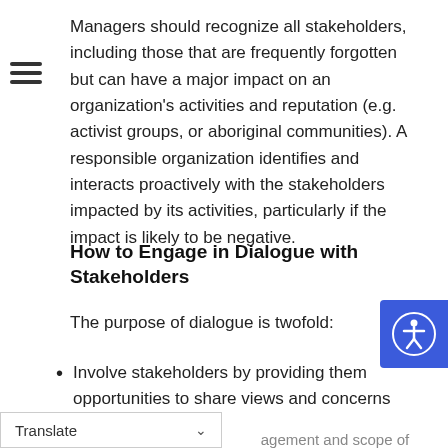Managers should recognize all stakeholders, including those that are frequently forgotten but can have a major impact on an organization's activities and reputation (e.g. activist groups, or aboriginal communities). A responsible organization identifies and interacts proactively with the stakeholders impacted by its activities, particularly if the impact is likely to be negative.
How to Engage in Dialogue with Stakeholders
The purpose of dialogue is twofold:
Involve stakeholders by providing them opportunities to share views and concerns directly
[Figure (other): Accessibility button icon (person in circle on blue square background) in the upper-right area of the page]
Translate